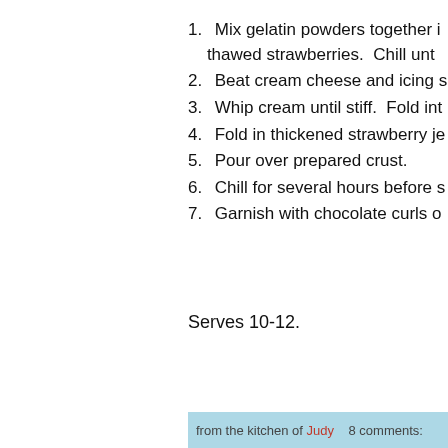1. Mix gelatin powders together i thawed strawberries.  Chill unt
2. Beat cream cheese and icing s
3. Whip cream until stiff.  Fold int
4. Fold in thickened strawberry je
5. Pour over prepared crust.
6. Chill for several hours before s
7. Garnish with chocolate curls o
Serves 10-12.
from the kitchen of Judy   8 comments: